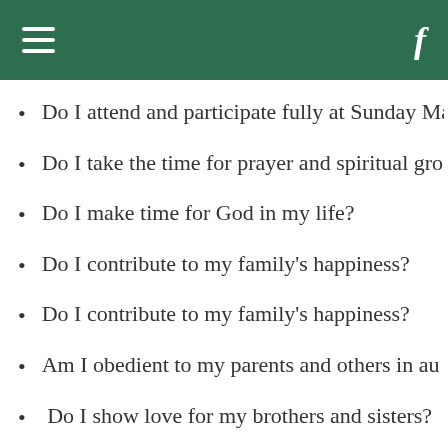≡  f
Do I attend and participate fully at Sunday Ma…
Do I take the time for prayer and spiritual gro…
Do I make time for God in my life?
Do I contribute to my family's happiness?
Do I contribute to my family's happiness?
Am I obedient to my parents and others in au…
Do I show love for my brothers and sisters?